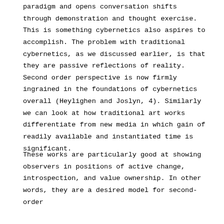paradigm and opens conversation shifts through demonstration and thought exercise. This is something cybernetics also aspires to accomplish. The problem with traditional cybernetics, as we discussed earlier, is that they are passive reflections of reality. Second order perspective is now firmly ingrained in the foundations of cybernetics overall (Heylighen and Joslyn, 4). Similarly we can look at how traditional art works differentiate from new media in which gain of readily available and instantiated time is significant.
These works are particularly good at showing observers in positions of active change, introspection, and value ownership. In other words, they are a desired model for second-order